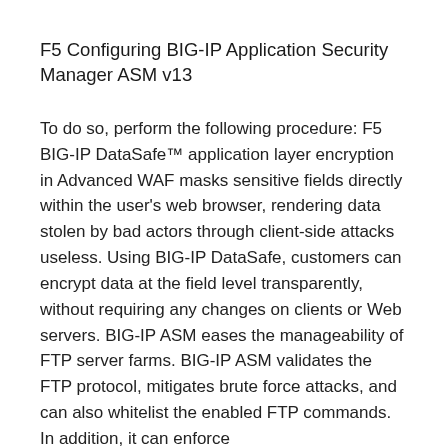F5 Configuring BIG-IP Application Security Manager ASM v13
To do so, perform the following procedure: F5 BIG-IP DataSafe™ application layer encryption in Advanced WAF masks sensitive fields directly within the user's web browser, rendering data stolen by bad actors through client-side attacks useless. Using BIG-IP DataSafe, customers can encrypt data at the field level transparently, without requiring any changes on clients or Web servers. BIG-IP ASM eases the manageability of FTP server farms. BIG-IP ASM validates the FTP protocol, mitigates brute force attacks, and can also whitelist the enabled FTP commands. In addition, it can enforce